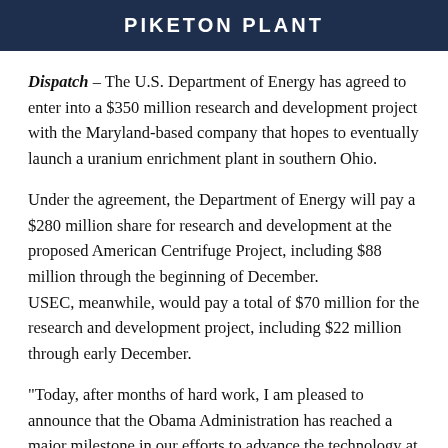PIKETON PLANT
Dispatch – The U.S. Department of Energy has agreed to enter into a $350 million research and development project with the Maryland-based company that hopes to eventually launch a uranium enrichment plant in southern Ohio.
Under the agreement, the Department of Energy will pay a $280 million share for research and development at the proposed American Centrifuge Project, including $88 million through the beginning of December.
USEC, meanwhile, would pay a total of $70 million for the research and development project, including $22 million through early December.
"Today, after months of hard work, I am pleased to announce that the Obama Administration has reached a major milestone in our efforts to advance the technology at the